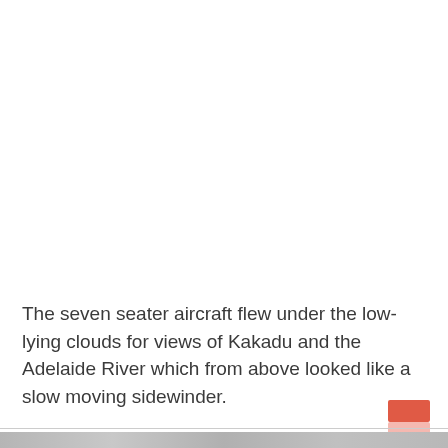The seven seater aircraft flew under the low-lying clouds for views of Kakadu and the Adelaide River which from above looked like a slow moving sidewinder.
[Figure (photo): Partial aerial photograph visible at the bottom of the page, showing a grey-toned landscape view]